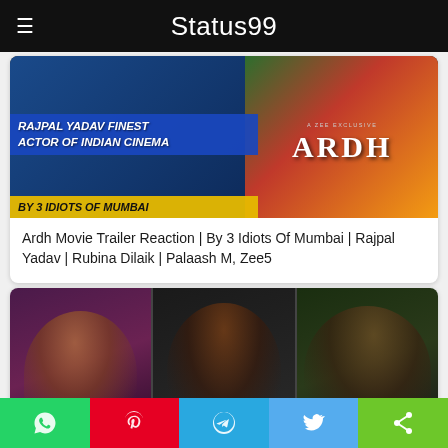≡  Status99
[Figure (screenshot): Movie thumbnail showing text 'RAJPAL YADAV FINEST ACTOR OF INDIAN CINEMA' on blue banner, 'BY 3 IDIOTS OF MUMBAI' on yellow banner, and 'ARDH' ZEE exclusive logo on right]
Ardh Movie Trailer Reaction | By 3 Idiots Of Mumbai | Rajpal Yadav | Rubina Dilaik | Palaash M, Zee5
[Figure (screenshot): Three-panel collage of film stills showing a person in feminine attire/makeup in three different poses/expressions]
WhatsApp share | Pinterest share | Telegram share | Twitter share | General share